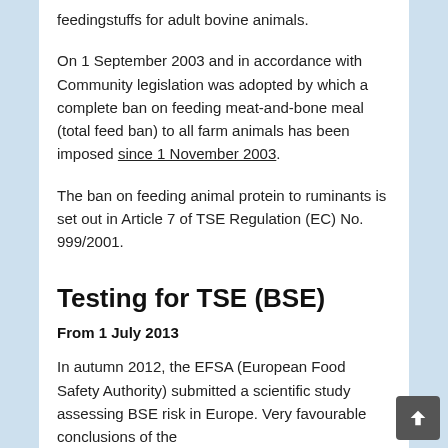feedingstuffs for adult bovine animals.
On 1 September 2003 and in accordance with Community legislation was adopted by which a complete ban on feeding meat-and-bone meal (total feed ban) to all farm animals has been imposed since 1 November 2003.
The ban on feeding animal protein to ruminants is set out in Article 7 of TSE Regulation (EC) No. 999/2001.
Testing for TSE (BSE)
From 1 July 2013
In autumn 2012, the EFSA (European Food Safety Authority) submitted a scientific study assessing BSE risk in Europe. Very favourable conclusions of the